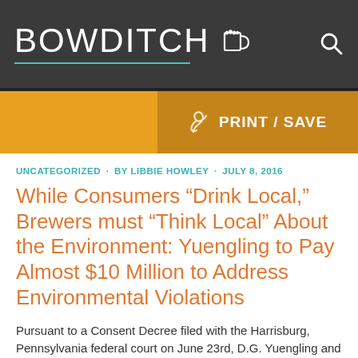BOWDITCH
[Figure (logo): Bowditch law firm logo with beer mug icon and teal underline on dark gray header bar]
PRINT / SAVE
UNCATEGORIZED · BY LIBBIE HOWLEY · JULY 8, 2016
While Consumers “Drink Local,” Brewers must “Think Local” About the Environment: Yuengling to Pay Almost $10 Million to Address Environmental Violations
Pursuant to a Consent Decree filed with the Harrisburg, Pennsylvania federal court on June 23rd, D.G. Yuengling and Son, Inc. (“Yuengling”) has reached agreement with the Environmental Protection Agency